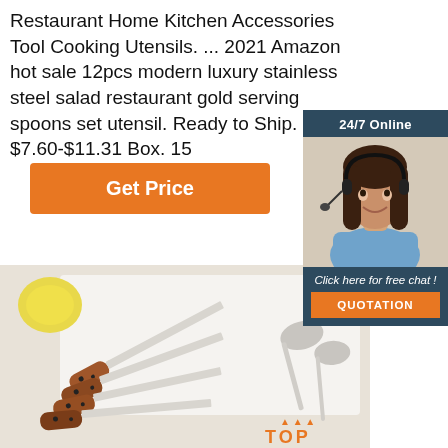Restaurant Home Kitchen Accessories Tool Cooking Utensils. ... 2021 Amazon hot sale 12pcs modern luxury stainless steel salad restaurant gold serving spoons set utensil. Ready to Ship. $7.60-$11.31 Box. 15
[Figure (other): Sidebar widget with dark blue background showing '24/7 Online' header, a customer service representative photo (woman with headset smiling), 'Click here for free chat!' text, and an orange QUOTATION button]
Get Price
[Figure (photo): Product photo showing multiple kitchen utensils/spatulas and spoons with brown wooden handles and stainless steel blades laid on a white surface. A lemon is partially visible. Orange TOP badge visible at bottom right.]